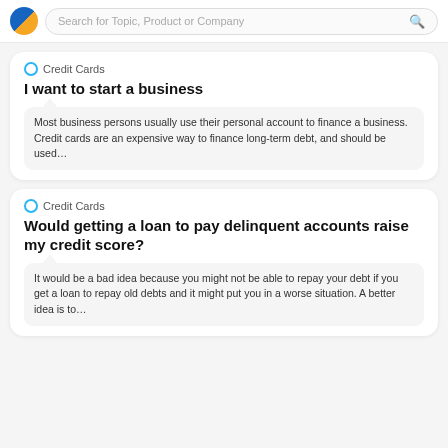Search for Topic, Product or Company
Credit Cards
I want to start a business
Most business persons usually use their personal account to finance a business. Credit cards are an expensive way to finance long-term debt, and should be used…
Credit Cards
Would getting a loan to pay delinquent accounts raise my credit score?
It would be a bad idea because you might not be able to repay your debt if you get a loan to repay old debts and it might put you in a worse situation. A better idea is to…